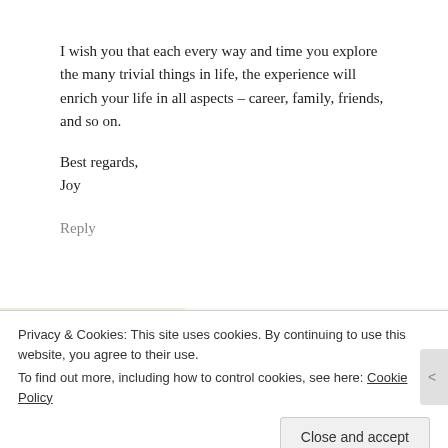I wish you that each every way and time you explore the many trivial things in life, the experience will enrich your life in all aspects – career, family, friends, and so on.
Best regards,
Joy
Reply
[Figure (screenshot): Partial screenshot of a website with a green 'Explore options' button on a beige background, and food/recipe images on the right side.]
Privacy & Cookies: This site uses cookies. By continuing to use this website, you agree to their use.
To find out more, including how to control cookies, see here: Cookie Policy
Close and accept